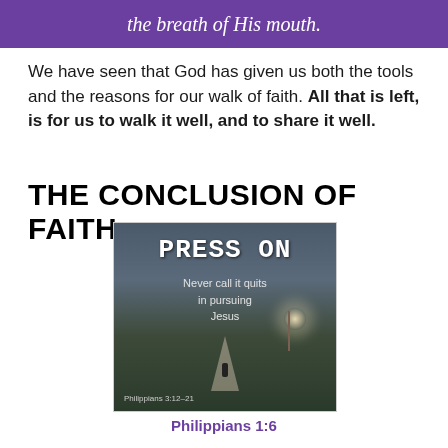the breath of His mouth.
We have seen that God has given us both the tools and the reasons for our walk of faith. All that is left, is for us to walk it well, and to share it well.
THE CONCLUSION OF FAITH
[Figure (photo): Inspirational image with text 'PRESS ON — Never call it quits in pursuing Jesus' over a misty field scene with a path, lone figure, and bare tree. Reference: Philippians 3:12-21]
Philippians 1:6